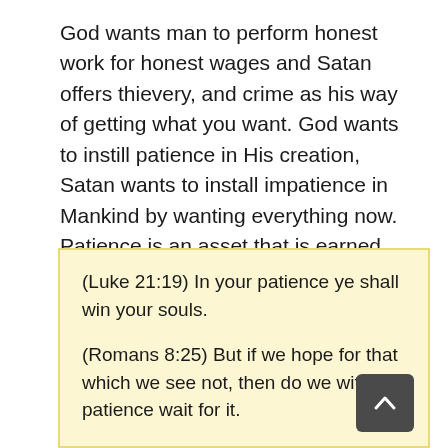God wants man to perform honest work for honest wages and Satan offers thievery, and crime as his way of getting what you want. God wants to instill patience in His creation, Satan wants to install impatience in Mankind by wanting everything now. Patience is an asset that is earned over time, while Satan teaches "another way" contrary to God's will...
(Luke 21:19) In your patience ye shall win your souls.
(Romans 8:25) But if we hope for that which we see not, then do we with patience wait for it.
(Romans 15:4) For whatsoever things were